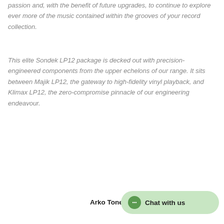passion and, with the benefit of future upgrades, to continue to explore ever more of the music contained within the grooves of your record collection.
This elite Sondek LP12 package is decked out with precision-engineered components from the upper echelons of our range. It sits between Majik LP12, the gateway to high-fidelity vinyl playback, and Klimax LP12, the zero-compromise pinnacle of our engineering endeavour.
Arko Tonearm